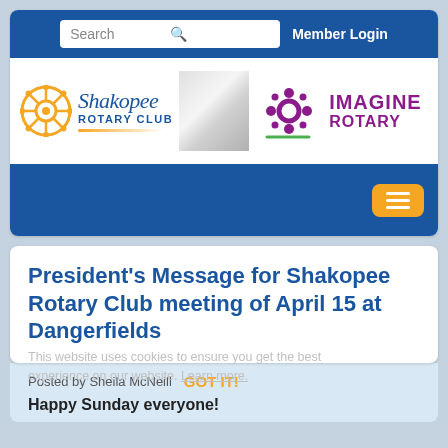[Figure (screenshot): Shakopee Rotary Club website header with search bar and Member Login link on blue background]
[Figure (logo): Shakopee Rotary Club logo with rotary wheel emblem, script Shakopee text, and Imagine Rotary logo with purple dots]
[Figure (screenshot): Blue navigation bar with orange hamburger menu button on right]
President's Message for Shakopee Rotary Club meeting of April 15 at Dangerfields
This website uses cookies to ensure you get the best experience on our website. Learn more.
Posted by Sheila McNeill
GOT IT!
Happy Sunday everyone!